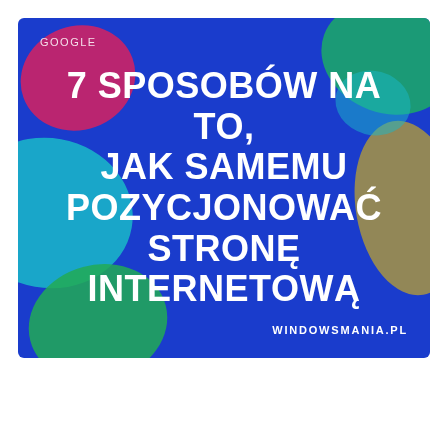[Figure (illustration): Decorative banner with blue background and colorful blob shapes (pink/magenta, teal/cyan, green, olive/yellow) in corners and edges. Contains Google label, main Polish-language title, and website URL.]
GOOGLE
7 SPOSOBÓW NA TO, JAK SAMEMU POZYCJONOWAĆ STRONĘ INTERNETOWĄ
WINDOWSMANIA.PL